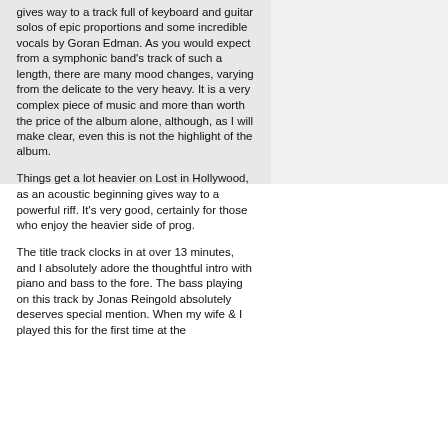gives way to a track full of keyboard and guitar solos of epic proportions and some incredible vocals by Goran Edman. As you would expect from a symphonic band's track of such a length, there are many mood changes, varying from the delicate to the very heavy. It is a very complex piece of music and more than worth the price of the album alone, although, as I will make clear, even this is not the highlight of the album.
Things get a lot heavier on Lost in Hollywood, as an acoustic beginning gives way to a powerful riff. It's very good, certainly for those who enjoy the heavier side of prog.
The title track clocks in at over 13 minutes, and I absolutely adore the thoughtful intro with piano and bass to the fore. The bass playing on this track by Jonas Reingold absolutely deserves special mention. When my wife & I played this for the first time at the